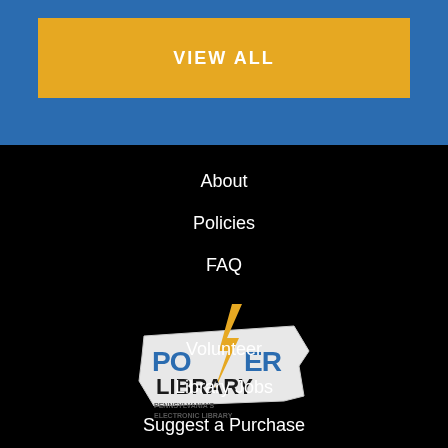VIEW ALL
About
Policies
FAQ
[Figure (logo): Power Library - Pennsylvania's Electronic Library logo on shape of Pennsylvania state, with lightning bolt through the 'o' in Power]
Volunteer
Library Jobs
Suggest a Purchase